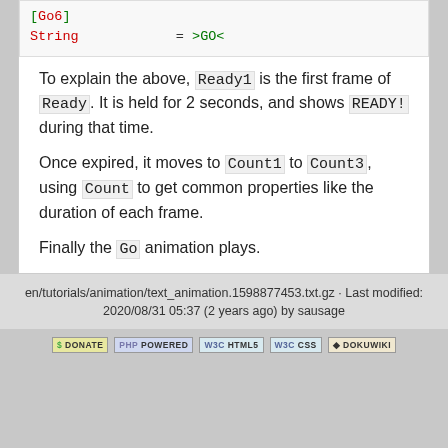[Go6]
String = >GO<
To explain the above, Ready1 is the first frame of Ready. It is held for 2 seconds, and shows READY! during that time.
Once expired, it moves to Count1 to Count3, using Count to get common properties like the duration of each frame.
Finally the Go animation plays.
en/tutorials/animation/text_animation.1598877453.txt.gz · Last modified: 2020/08/31 05:37 (2 years ago) by sausage